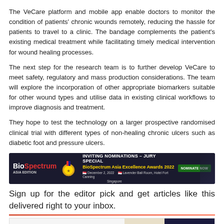The VeCare platform and mobile app enable doctors to monitor the condition of patients' chronic wounds remotely, reducing the hassle for patients to travel to a clinic. The bandage complements the patient's existing medical treatment while facilitating timely medical intervention for wound healing processes.
The next step for the research team is to further develop VeCare to meet safety, regulatory and mass production considerations. The team will explore the incorporation of other appropriate biomarkers suitable for other wound types and utilise data in existing clinical workflows to improve diagnosis and treatment.
They hope to test the technology on a larger prospective randomised clinical trial with different types of non-healing chronic ulcers such as diabetic foot and pressure ulcers.
[Figure (infographic): BioSpectrum Asia advertisement banner: INVITING NOMINATIONS – JURY SPECIAL, BioSpectrum Asia Excellence Awards 2022, December 2, 2022, Lavender Ball Room, Hotel Fort Canning, Singapore. With NOMINATE NOW button.]
Sign up for the editor pick and get articles like this delivered right to your inbox.
[Figure (infographic): Luina Bio advertisement: For early phase clinical bio manufacturing – see Luina Bio]